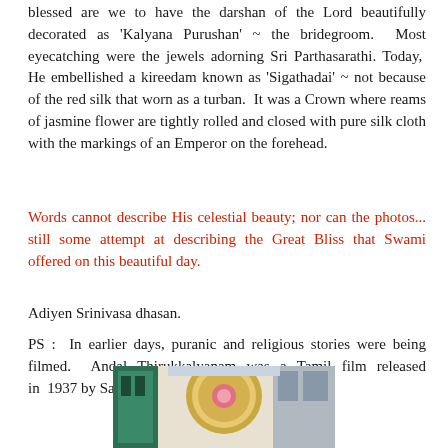blessed are we to have the darshan of the Lord beautifully decorated as 'Kalyana Purushan' ~ the bridegroom. Most eyecatching were the jewels adorning Sri Parthasarathi. Today, He embellished a kireedam known as 'Sigathadai' ~ not because of the red silk that worn as a turban. It was a Crown where reams of jasmine flower are tightly rolled and closed with pure silk cloth with the markings of an Emperor on the forehead.
Words cannot describe His celestial beauty; nor can the photos... still some attempt at describing the Great Bliss that Swami offered on this beautiful day.
Adiyen Srinivasa dhasan.
PS : In earlier days, puranic and religious stories were being filmed. Andal Thirukkalyanam was a Tamil film released in 1937 by Saradha Films, directed by R Prakash.
[Figure (photo): Partial photo of a deity or religious scene with colorful decorations visible at bottom of page]